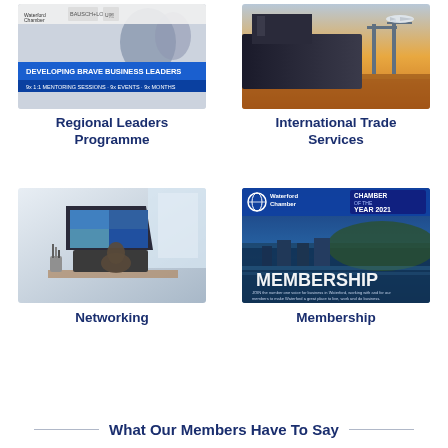[Figure (photo): Regional Leaders Programme promotional image with business mentoring theme, logos for Waterford Chamber, Bausch & Lomb, and text 'DEVELOPING BRAVE BUSINESS LEADERS 9x 1:1 MENTORING SESSIONS · 9x EVENTS · 9x MONTHS']
Regional Leaders Programme
[Figure (photo): International trade services image showing a large cargo ship in port with an airplane in background at golden hour]
International Trade Services
[Figure (photo): Networking image showing a person from behind working on a laptop with a video conference call displayed on screen]
Networking
[Figure (photo): Waterford Chamber Membership promotional image with Chamber of the Year 2021 badge and aerial view of Waterford city with text MEMBERSHIP]
Membership
What Our Members Have To Say